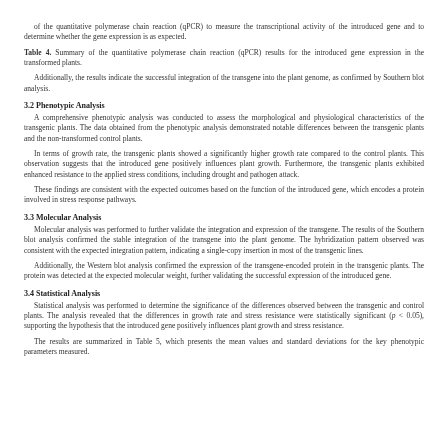of the quantitative polymerase chain reaction (qPCR) to measure the transcriptional activity of the introduced gene and to determine whether the gene expression is as expected.
Table 4. Summary of the quantitative polymerase chain reaction (qPCR) results for the introduced gene expression in the transformed plants.
Additionally, the results indicate the successful integration of the transgene into the plant genome, as confirmed by Southern blot analysis.
3.2 Phenotypic Analysis
A comprehensive phenotypic analysis was conducted to assess the morphological and physiological characteristics of the transgenic plants. The data obtained from the phenotypic analysis demonstrated notable differences between the transgenic plants and the non-transformed control plants.
In terms of growth rate, the transgenic plants showed a significantly higher growth rate compared to the control plants. This observation suggests that the introduced gene positively influences plant growth. Furthermore, the transgenic plants exhibited enhanced resistance to the applied stress conditions, including drought and pathogen attack.
These findings are consistent with the expected outcomes based on the function of the introduced gene, which encodes a protein involved in stress response pathways.
3.3 Molecular Analysis
Molecular analysis was performed to further validate the integration and expression of the transgene. The results of the Southern blot analysis confirmed the stable integration of the transgene into the plant genome. The hybridization pattern observed was consistent with the expected integration pattern, indicating a single-copy insertion in most of the transgenic lines.
Additionally, the Western blot analysis confirmed the expression of the transgene-encoded protein in the transgenic plants. The protein was detected at the expected molecular weight, further validating the successful expression of the introduced gene.
3.4 Statistical Analysis
Statistical analysis was performed to determine the significance of the differences observed between the transgenic and control plants. The analysis revealed that the differences in growth rate and stress resistance were statistically significant (p < 0.05), supporting the hypothesis that the introduced gene positively influences plant growth and stress resistance.
The results are summarized in Table 5, which presents the mean values and standard deviations for the key phenotypic parameters measured.